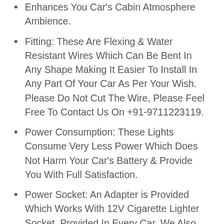Enhances You Car's Cabin Atmosphere Ambience.
Fitting: These Are Flexing & Water Resistant Wires Which Can Be Bent In Any Shape Making It Easier To Install In Any Part Of Your Car As Per Your Wish. Please Do Not Cut The Wire, Please Feel Free To Contact Us On +91-9711223119.
Power Consumption: These Lights Consume Very Less Power Which Does Not Harm Your Car's Battery & Provide You With Full Satisfaction.
Power Socket: An Adapter is Provided Which Works With 12V Cigarette Lighter Socket, Provided In Every Car. We Also Have Just Adapter Which is Connected With The Car's Wiring Making It's Connection With a Button, So That You Can Switch On & Off The Light Whenever You Want.